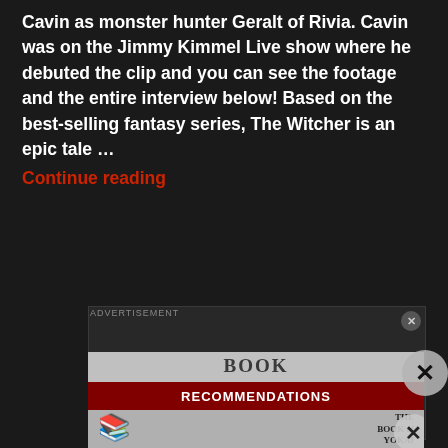Cavin as monster hunter Geralt of Rivia. Cavin was on the Jimmy Kimmel Live show where he debuted the clip and you can see the footage and the entire interview below! Based on the best-selling fantasy series, The Witcher is an epic tale … Continue reading
[Figure (screenshot): Video player placeholder showing 'No compatible source was found for this media.' with a close button]
[Figure (screenshot): Book Recommendations advertisement overlay with red bar and 'THE BOOK OF YOKAI' text visible, with X close button]